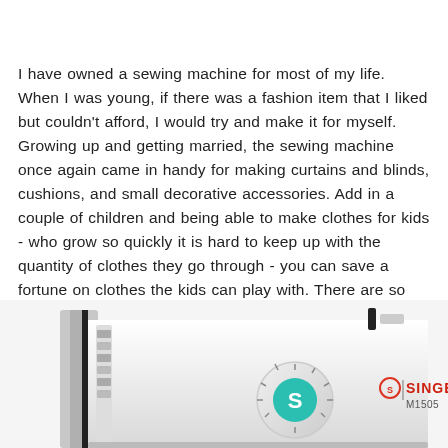I have owned a sewing machine for most of my life. When I was young, if there was a fashion item that I liked but couldn't afford, I would try and make it for myself. Growing up and getting married, the sewing machine once again came in handy for making curtains and blinds, cushions, and small decorative accessories. Add in a couple of children and being able to make clothes for kids - who grow so quickly it is hard to keep up with the quantity of clothes they go through - you can save a fortune on clothes the kids can play with. There are so many ways that a sewing machine can be useful
[Figure (photo): Partial photograph of a white Singer M1505 sewing machine showing the front panel with a teal/green Singer logo dial and the Singer M1505 brand text in red and black on the white body of the machine.]